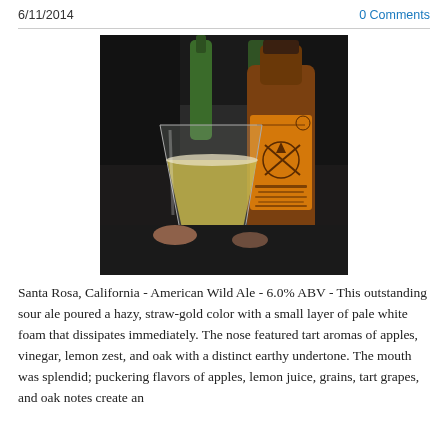6/11/2014    0 Comments
[Figure (photo): A glass of hazy straw-gold beer next to a brown bottle with an orange label, with green bottles visible in the background on a dark surface.]
Santa Rosa, California - American Wild Ale - 6.0% ABV - This outstanding sour ale poured a hazy, straw-gold color with a small layer of pale white foam that dissipates immediately. The nose featured tart aromas of apples, vinegar, lemon zest, and oak with a distinct earthy undertone. The mouth was splendid; puckering flavors of apples, lemon juice, grains, tart grapes, and oak notes create an